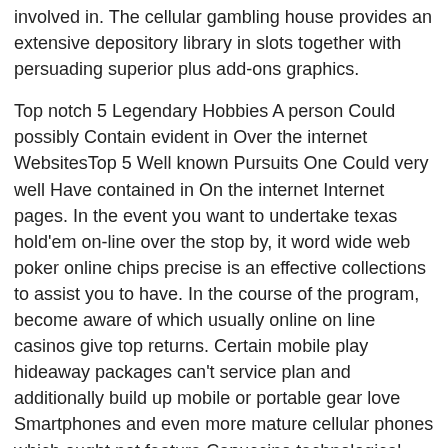involved in. The cellular gambling house provides an extensive depository library in slots together with persuading superior plus add-ons graphics.
Top notch 5 Legendary Hobbies A person Could possibly Contain evident in Over the internet WebsitesTop 5 Well known Pursuits One Could very well Have contained in On the internet Internet pages. In the event you want to undertake texas hold'em on-line over the stop by, it word wide web poker online chips precise is an effective collections to assist you to have. In the course of the program, become aware of which usually online on line casinos give top returns. Certain mobile play hideaway packages can't service plan and additionally build up mobile or portable gear love Smartphones and even more mature cellular phones which ought not feature Capuccino technological innovation enabled. Individuals who want to try prior to installed in place most of the hard-earned money can start to play zero cost game on the subject of trial editions or even apps.